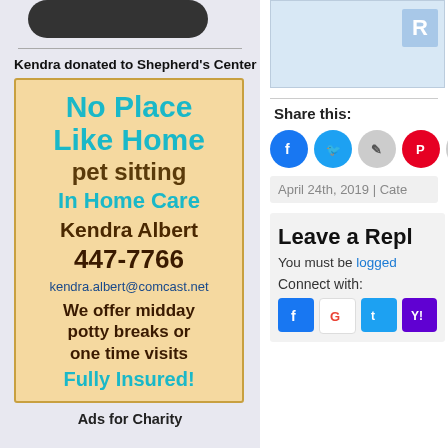[Figure (other): Dark rounded button (donate/subscribe) at top of left sidebar]
Kendra donated to Shepherd's Center
[Figure (illustration): Advertisement box with tan/peach background: 'No Place Like Home pet sitting In Home Care Kendra Albert 447-7766 kendra.albert@comcast.net We offer midday potty breaks or one time visits Fully Insured!']
Ads for Charity
[Figure (screenshot): Partial blue box with letter R visible, top right sidebar]
Share this:
[Figure (other): Social share icons: Facebook (blue), Twitter (blue), Print (gray), Pinterest (red), more (gray)]
April 24th, 2019 | Cate
Leave a Reply
You must be logged
Connect with:
[Figure (other): Social connect icons: Facebook, Google, Twitter, Yahoo]